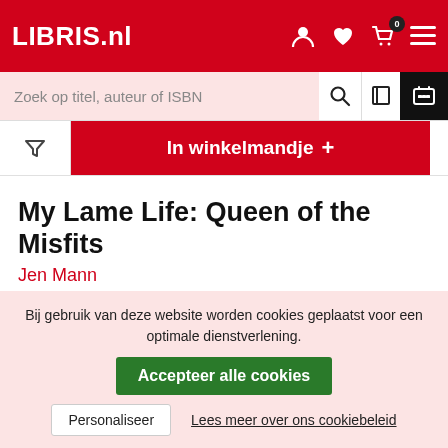LIBRIS.nl
Zoek op titel, auteur of ISBN
In winkelmandje +
My Lame Life: Queen of the Misfits
Jen Mann
Serie: My Lame Life
ISBN: 9780988408081  ebook: EPUB  Direct te downloaden
Bij gebruik van deze website worden cookies geplaatst voor een optimale dienstverlening.  Accepteer alle cookies  Personaliseer  Lees meer over ons cookiebeleid